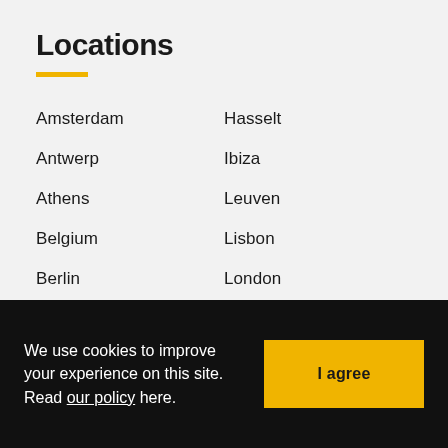Locations
Amsterdam
Hasselt
Antwerp
Ibiza
Athens
Leuven
Belgium
Lisbon
Berlin
London
Bruges & Knokke
Luxembourg
Brussels
Madrid
Capri
Marbella
Cologne
Milan
Copenhagen
Monaco
We use cookies to improve your experience on this site. Read our policy here.